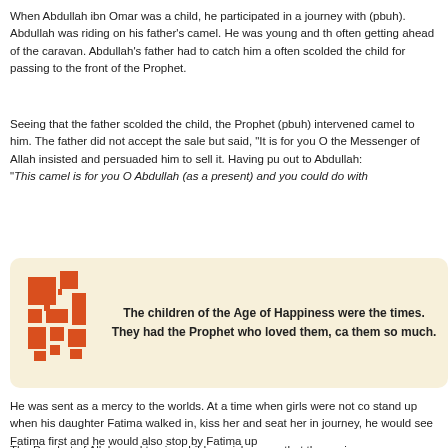When Abdullah ibn Omar was a child, he participated in a journey with (pbuh). Abdullah was riding on his father's camel. He was young and th often getting ahead of the caravan. Abdullah's father had to catch him a often scolded the child for passing to the front of the Prophet.
Seeing that the father scolded the child, the Prophet (pbuh) intervened camel to him. The father did not accept the sale but said, "It is for you O the Messenger of Allah insisted and persuaded him to sell it. Having pu out to Abdullah: "This camel is for you O Abdullah (as a present) and you could do with
[Figure (infographic): Orange geometric/abstract logo icon on left, bold text on right: 'The children of the Age of Happiness were the times. They had the Prophet who loved them, ca them so much.']
He was sent as a mercy to the worlds. At a time when girls were not co stand up when his daughter Fatima walked in, kiss her and seat her in journey, he would see Fatima first and he would also stop by Fatima up
The Prophet of Allah used to give children nicknames that they enjoy